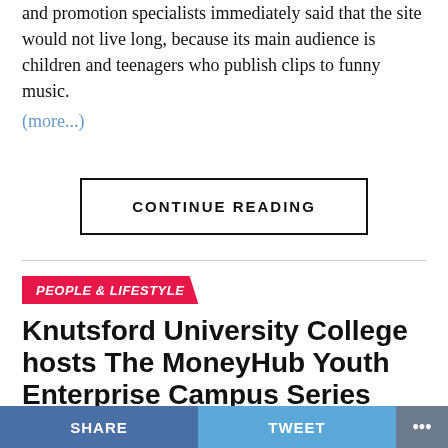and promotion specialists immediately said that the site would not live long, because its main audience is children and teenagers who publish clips to funny music. (more...)
CONTINUE READING
PEOPLE & LIFESTYLE
Knutsford University College hosts The MoneyHub Youth Enterprise Campus Series
Published 2 days agoon August 19, 2022
SHARE  TWEET  ...